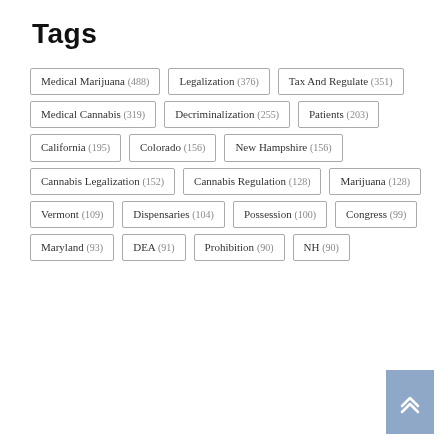Tags
Medical Marijuana (488)
Legalization (376)
Tax And Regulate (351)
Medical Cannabis (319)
Decriminalization (255)
Patients (203)
California (195)
Colorado (156)
New Hampshire (156)
Cannabis Legalization (152)
Cannabis Regulation (128)
Marijuana (128)
Vermont (109)
Dispensaries (104)
Possession (100)
Congress (99)
Maryland (93)
DEA (91)
Prohibition (90)
NH (90)